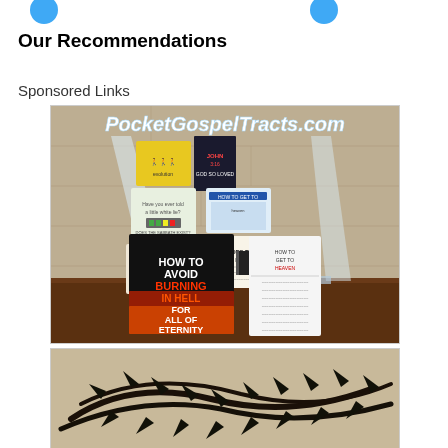Our Recommendations
Sponsored Links
[Figure (photo): Photo of a display rack with multiple pocket gospel tracts including 'How to Avoid Burning in Hell for All of Eternity', '25 Proofs That Jesus Is God', and other religious booklets. The website PocketGospelTracts.com is shown at the top of the image.]
[Figure (photo): Photo of a crown of thorns lying on a beige surface, shot from above.]